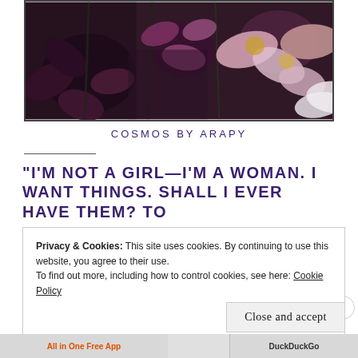[Figure (photo): Photograph of cosmos flowers in purple, pink, and white tones with dark green stems against a blurred garden background]
COSMOS BY ARAPY
“I’M NOT A GIRL—I’M A WOMAN. I WANT THINGS. SHALL I EVER HAVE THEM? TO
Privacy & Cookies: This site uses cookies. By continuing to use this website, you agree to their use.
To find out more, including how to control cookies, see here: Cookie Policy
Close and accept